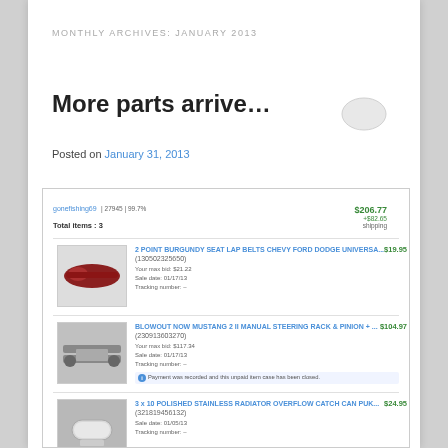MONTHLY ARCHIVES: JANUARY 2013
More parts arrive…
Posted on January 31, 2013
[Figure (illustration): Speech/comment bubble icon in light gray]
[Figure (screenshot): eBay purchase summary showing seller gonefishing69, Total items: 3, total $206.77 + $82.65 shipping. Three items: 1) 2 POINT BURGUNDY SEAT LAP BELTS CHEVY FORD DODGE UNIVERSA... (130502325650) $19.95, Your max bid: $21.22, Sale date: 01/17/13, Tracking number: –; 2) BLOWOUT NOW MUSTANG 2 II MANUAL STEERING RACK & PINION + ... (230913603270) $104.97, Your max bid: $117.34, Sale date: 01/17/13, Tracking number: –, Payment was recorded and this unpaid item case has been closed.; 3) 3 x 10 POLISHED STAINLESS RADIATOR OVERFLOW CATCH CAN PUK... (321819456132) $24.95, Sale date: 01/05/13, Tracking number: –]